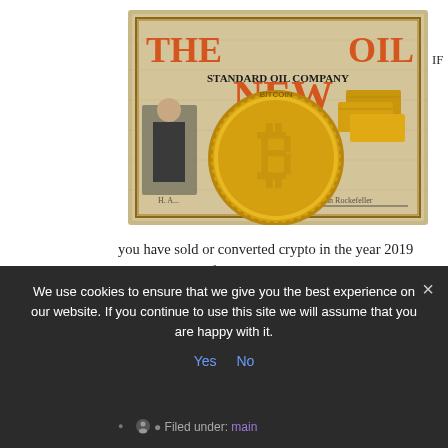[Figure (illustration): Composite image showing an old Standard Oil Company stock certificate overlaid with a large gold Bitcoin coin and gold bars, with large orange/red text reading THE NEW OIL in front]
IF
you have sold or converted crypto in the year 2019 and are eligible for US taxes , you must report your trades to the IRS. Please consult a tax advisor for your own .
[embedyt]//www.youtube.com/embed/zrbm89Q33HI[/emb
We use cookies to ensure that we give you the best experience on our website. If you continue to use this site we will assume that you are happy with it.
Yes   No
Filed under: main